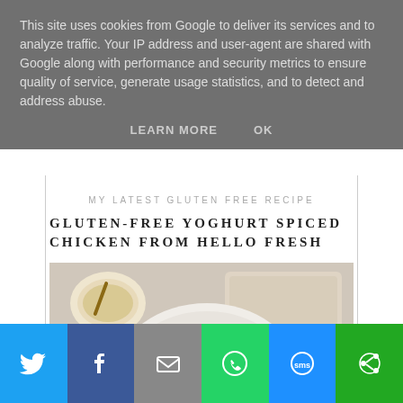This site uses cookies from Google to deliver its services and to analyze traffic. Your IP address and user-agent are shared with Google along with performance and security metrics to ensure quality of service, generate usage statistics, and to detect and address abuse.
LEARN MORE    OK
MY LATEST GLUTEN FREE RECIPE
GLUTEN-FREE YOGHURT SPICED CHICKEN FROM HELLO FRESH
[Figure (photo): A plate of gluten-free yoghurt spiced chicken with broccoli, sweet potato, and greens, served on a white plate on a light marble surface with a cutting board, fork, knife, a bowl of sauce and a bowl of herbs.]